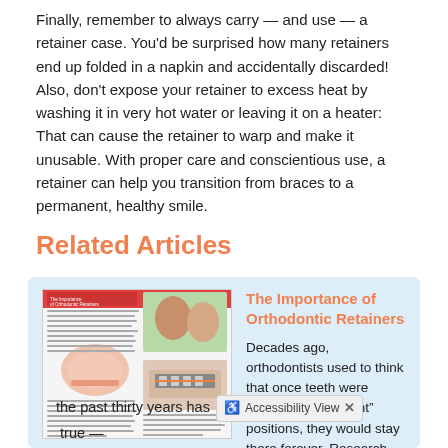Finally, remember to always carry — and use — a retainer case. You'd be surprised how many retainers end up folded in a napkin and accidentally discarded! Also, don't expose your retainer to excess heat by washing it in very hot water or leaving it on a heater: That can cause the retainer to warp and make it unusable. With proper care and conscientious use, a retainer can help you transition from braces to a permanent, healthy smile.
Related Articles
[Figure (illustration): Thumbnail image of an article page titled 'The Importance of Orthodontic Retainers' showing a dental retainer illustration and images of braces.]
The Importance of Orthodontic Retainers
Decades ago, orthodontists used to think that once teeth were moved into the "right" positions, they would stay there forever. Research over the past thirty years has [Accessibility View] true —